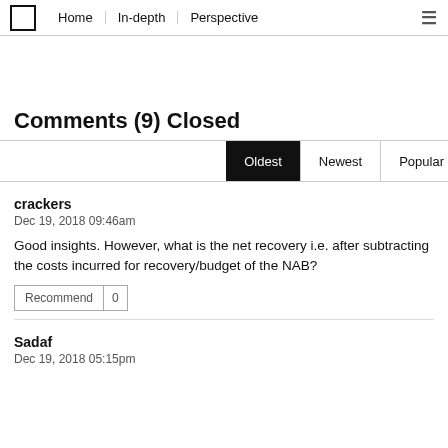Home | In-depth | Perspective
Comments (9) Closed
Oldest  Newest  Popular
crackers
Dec 19, 2018 09:46am
Good insights. However, what is the net recovery i.e. after subtracting the costs incurred for recovery/budget of the NAB?
Sadaf
Dec 19, 2018 05:15pm